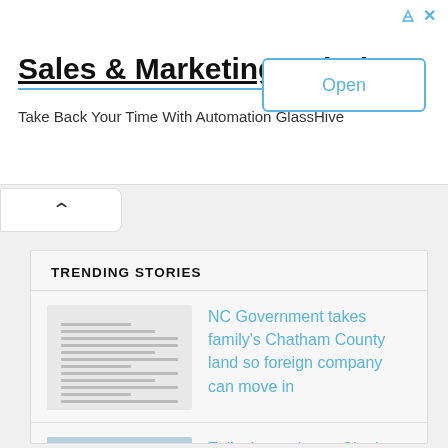[Figure (other): Advertisement banner: Sales & Marketing Solutions with Open button]
Sales & Marketing Solutions
Take Back Your Time With Automation GlassHive
TRENDING STORIES
NC Government takes family's Chatham County land so foreign company can move in
Folks in southeast Chatham will lose their homes, their farms, and their businesses
NCDOT invites public input for southeast Chatham County project